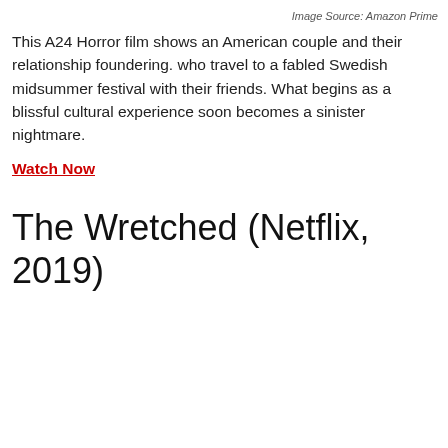Image Source: Amazon Prime
This A24 Horror film shows an American couple and their relationship foundering. who travel to a fabled Swedish midsummer festival with their friends. What begins as a blissful cultural experience soon becomes a sinister nightmare.
Watch Now
The Wretched (Netflix, 2019)